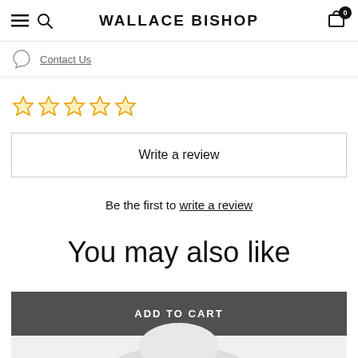WALLACE BISHOP
Contact Us
[Figure (other): Five empty star rating icons in gold/yellow outline]
Write a review
Be the first to write a review
You may also like
[Figure (other): Product card with NEW IN badge, ADD TO CART overlay button, and partial product image at bottom]